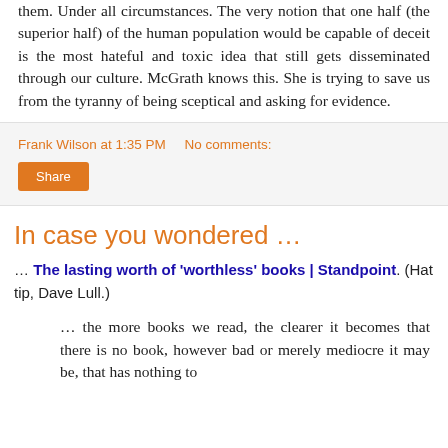them. Under all circumstances. The very notion that one half (the superior half) of the human population would be capable of deceit is the most hateful and toxic idea that still gets disseminated through our culture. McGrath knows this. She is trying to save us from the tyranny of being sceptical and asking for evidence.
Frank Wilson at 1:35 PM   No comments:
Share
In case you wondered …
… The lasting worth of 'worthless' books | Standpoint. (Hat tip, Dave Lull.)
… the more books we read, the clearer it becomes that there is no book, however bad or merely mediocre it may be, that has nothing to